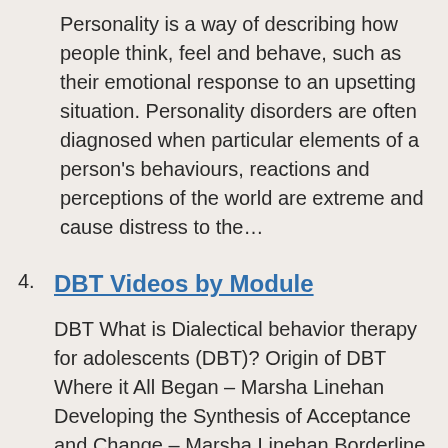Personality is a way of describing how people think, feel and behave, such as their emotional response to an upsetting situation. Personality disorders are often diagnosed when particular elements of a person's behaviours, reactions and perceptions of the world are extreme and cause distress to the…
4. DBT Videos by Module
DBT What is Dialectical behavior therapy for adolescents (DBT)? Origin of DBT Where it All Began – Marsha Linehan Developing the Synthesis of Acceptance and Change – Marsha Linehan Borderline Personality Disorder Having A Life Worth Living - Dr Aguirre's Insights on Borderline Personality Disorder